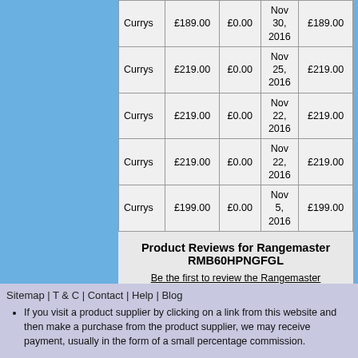|  |  |  |  |  |
| --- | --- | --- | --- | --- |
| Currys | £189.00 | £0.00 | Nov 30, 2016 | £189.00 |
| Currys | £219.00 | £0.00 | Nov 25, 2016 | £219.00 |
| Currys | £219.00 | £0.00 | Nov 22, 2016 | £219.00 |
| Currys | £219.00 | £0.00 | Nov 22, 2016 | £219.00 |
| Currys | £199.00 | £0.00 | Nov 5, 2016 | £199.00 |
Product Reviews for Rangemaster RMB60HPNGFGL
Be the first to review the Rangemaster RMB60HPNGFGL
Sitemap | T & C | Contact | Help | Blog
If you visit a product supplier by clicking on a link from this website and then make a purchase from the product supplier, we may receive payment, usually in the form of a small percentage commission.